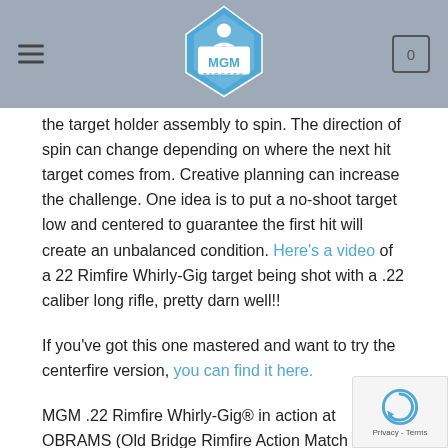MGM Targets — navigation header with logo, hamburger menu, and cart icon
the target holder assembly to spin. The direction of spin can change depending on where the next hit target comes from. Creative planning can increase the challenge. One idea is to put a no-shoot target low and centered to guarantee the first hit will create an unbalanced condition. Here's a video of a 22 Rimfire Whirly-Gig target being shot with a .22 caliber long rifle, pretty darn well!!
If you've got this one mastered and want to try the centerfire version, you can find it here.
MGM .22 Rimfire Whirly-Gig® in action at OBRAMS (Old Bridge Rimfire Action Match Shooters) July Rifle Match. Shooters from